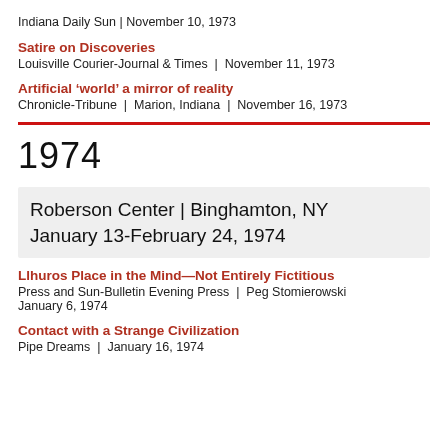Indiana Daily Sun | November 10, 1973
Satire on Discoveries
Louisville Courier-Journal & Times | November 11, 1973
Artificial ‘world’ a mirror of reality
Chronicle-Tribune | Marion, Indiana | November 16, 1973
1974
Roberson Center | Binghamton, NY
January 13-February 24, 1974
Llhuros Place in the Mind—Not Entirely Fictitious
Press and Sun-Bulletin Evening Press | Peg Stomierowski
January 6, 1974
Contact with a Strange Civilization
Pipe Dreams | January 16, 1974